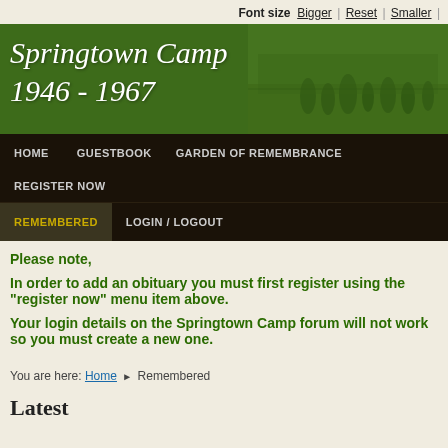Font size  Bigger | Reset | Smaller
[Figure (other): Springtown Camp 1946-1967 banner with green background and historical photo of people]
HOME   GUESTBOOK   GARDEN OF REMEMBRANCE   REGISTER NOW   REMEMBERED   LOGIN / LOGOUT
Please note,

In order to add an obituary you must first register using the "register now" menu item above.

Your login details on the Springtown Camp forum will not work so you must create a new one.
You are here: Home ▶ Remembered
Latest